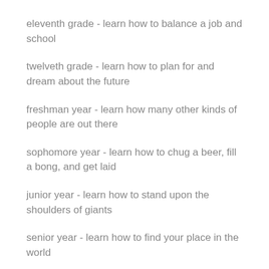eleventh grade - learn how to balance a job and school
twelveth grade - learn how to plan for and dream about the future
freshman year - learn how many other kinds of people are out there
sophomore year - learn how to chug a beer, fill a bong, and get laid
junior year - learn how to stand upon the shoulders of giants
senior year - learn how to find your place in the world
graduate school - learn how to play nicely together, all